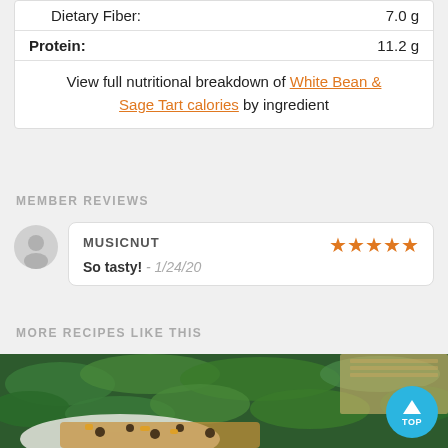| Nutrient | Amount |
| --- | --- |
| Dietary Fiber: | 7.0 g |
| Protein: | 11.2 g |
View full nutritional breakdown of White Bean & Sage Tart calories by ingredient
MEMBER REVIEWS
MUSICNUT ★★★★★ So tasty! - 1/24/20
MORE RECIPES LIKE THIS
[Figure (photo): Food photo showing a bowl of spinach salad with grains, beans and other ingredients]